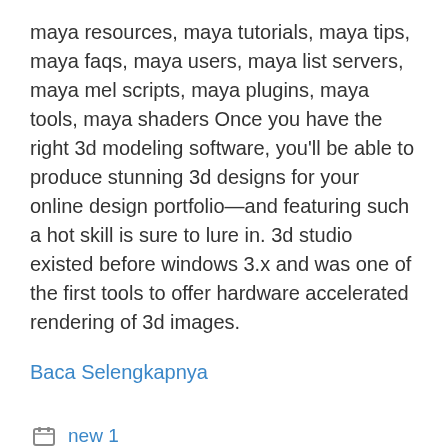maya resources, maya tutorials, maya tips, maya faqs, maya users, maya list servers, maya mel scripts, maya plugins, maya tools, maya shaders Once you have the right 3d modeling software, you'll be able to produce stunning 3d designs for your online design portfolio—and featuring such a hot skill is sure to lure in. 3d studio existed before windows 3.x and was one of the first tools to offer hardware accelerated rendering of 3d images.
Baca Selengkapnya
new 1
beginners, design, interior
Tinggalkan komentar